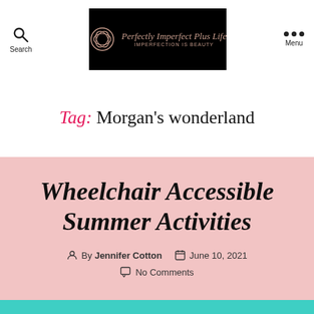Perfectly Imperfect Plus Life — IMPERFECTION IS BEAUTY
Tag: Morgan's wonderland
Wheelchair Accessible Summer Activities
By Jennifer Cotton   June 10, 2021   No Comments